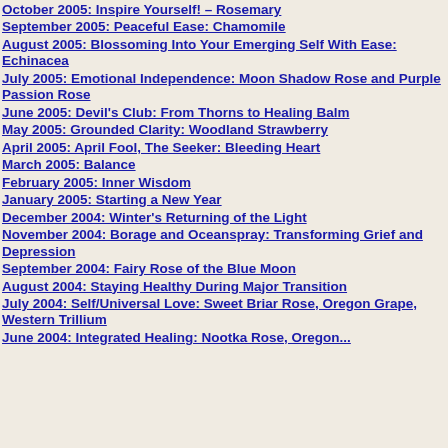October 2005: Inspire Yourself! – Rosemary
September 2005: Peaceful Ease: Chamomile
August 2005: Blossoming Into Your Emerging Self With Ease: Echinacea
July 2005: Emotional Independence: Moon Shadow Rose and Purple Passion Rose
June 2005: Devil's Club: From Thorns to Healing Balm
May 2005: Grounded Clarity: Woodland Strawberry
April 2005: April Fool, The Seeker: Bleeding Heart
March 2005: Balance
February 2005: Inner Wisdom
January 2005: Starting a New Year
December 2004: Winter's Returning of the Light
November 2004: Borage and Oceanspray: Transforming Grief and Depression
September 2004: Fairy Rose of the Blue Moon
August 2004: Staying Healthy During Major Transition
July 2004: Self/Universal Love: Sweet Briar Rose, Oregon Grape, Western Trillium
June 2004: Integrated Healing: Nootka Rose, Oregon...